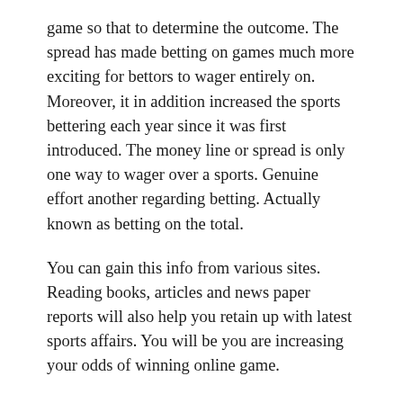game so that to determine the outcome. The spread has made betting on games much more exciting for bettors to wager entirely on. Moreover, it in addition increased the sports bettering each year since it was first introduced. The money line or spread is only one way to wager over a sports. Genuine effort another regarding betting. Actually known as betting on the total.
You can gain this info from various sites. Reading books, articles and news paper reports will also help you retain up with latest sports affairs. You will be you are increasing your odds of winning online game.
Things are simpler people today try to innovate things from its usual guise. It makes complex things simple and incredibly much simple understand for who require assistance on understanding things. Deciding on a jeux casino may or may stop easy. However, realizing its complexity and understanding attractiveness of its